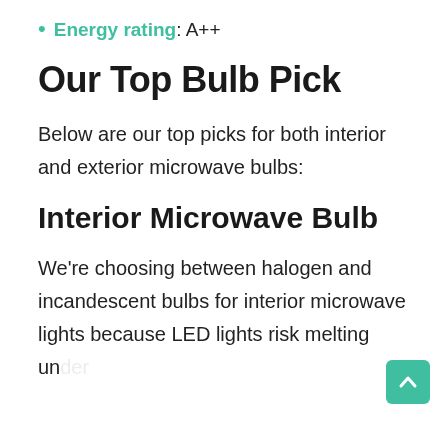Energy rating: A++
Our Top Bulb Pick
Below are our top picks for both interior and exterior microwave bulbs:
Interior Microwave Bulb
We're choosing between halogen and incandescent bulbs for interior microwave lights because LED lights risk melting under the heat...